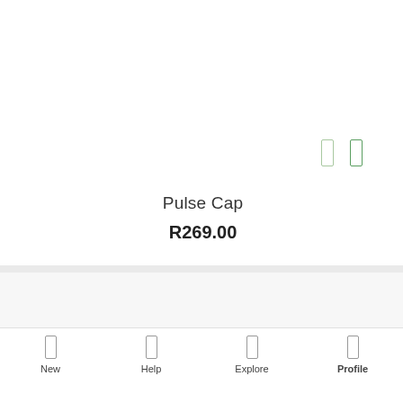[Figure (screenshot): Product listing screenshot showing a white card area with two small green rectangle icons, a product name 'Pulse Cap', and a price 'R269.00']
Pulse Cap
R269.00
New    Help    Explore    Profile